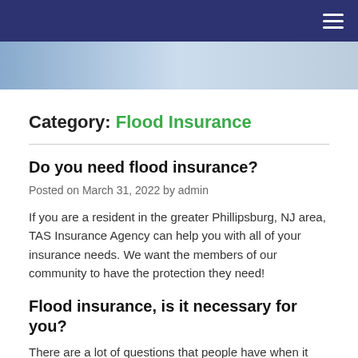Navigation header with hamburger menu
[Figure (photo): Hero banner image showing people, partially visible]
Category: Flood Insurance
Do you need flood insurance?
Posted on March 31, 2022 by admin
If you are a resident in the greater Phillipsburg, NJ area, TAS Insurance Agency can help you with all of your insurance needs. We want the members of our community to have the protection they need!
Flood insurance, is it necessary for you?
There are a lot of questions that people have when it comes to flood insurance. We can help answer all of your